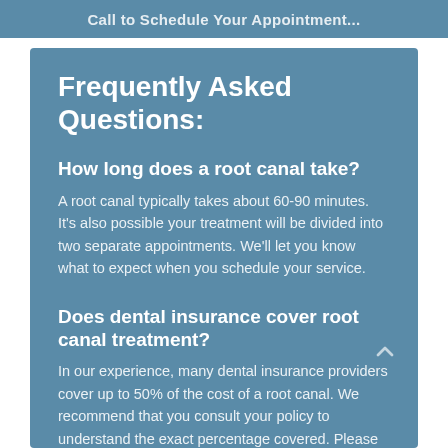Call to Schedule Your Appointment...
Frequently Asked Questions:
How long does a root canal take?
A root canal typically takes about 60-90 minutes. It's also possible your treatment will be divided into two separate appointments. We'll let you know what to expect when you schedule your service.
Does dental insurance cover root canal treatment?
In our experience, many dental insurance providers cover up to 50% of the cost of a root canal. We recommend that you consult your policy to understand the exact percentage covered. Please contact